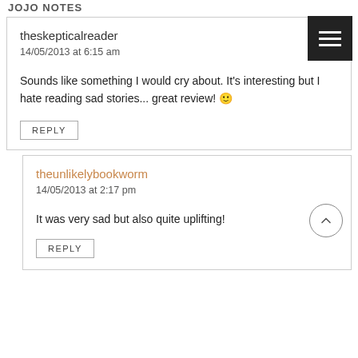JOJO NOTES
theskepticalreader
14/05/2013 at 6:15 am
Sounds like something I would cry about. It's interesting but I hate reading sad stories... great review! 🙂
REPLY
theunlikelybookworm
14/05/2013 at 2:17 pm
It was very sad but also quite uplifting!
REPLY